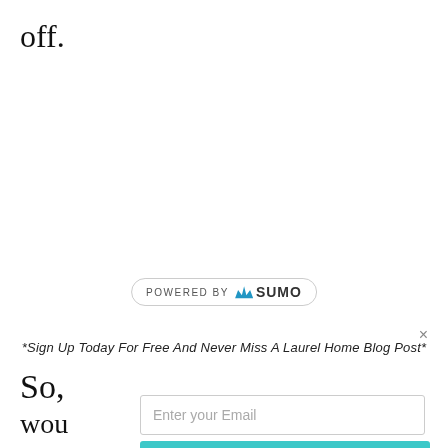off.
[Figure (logo): Powered by SUMO badge with crown logo]
×
*Sign Up Today For Free And Never Miss A Laurel Home Blog Post*
So,
wou
[Figure (screenshot): Email input field with placeholder 'Enter your Email']
[Figure (screenshot): Teal button with text 'Gimme The Subscription!']
wou
ima